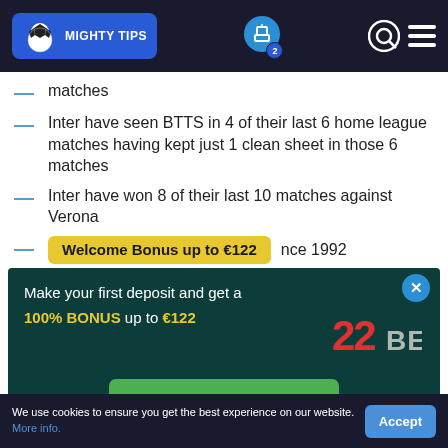MIGHTY TIPS
matches
Inter have seen BTTS in 4 of their last 6 home league matches having kept just 1 clean sheet in those 6 matches
Inter have won 8 of their last 10 matches against Verona
...nce 1992
[Figure (infographic): 22BET welcome bonus popup: 'Welcome Bonus up to €122' tag, 'Make your first deposit and get a 100% BONUS up to €122', 22BET logo, CLAIM THE BONUS green button]
Welcome Bonus up to €122
Make your first deposit and get a 100% BONUS up to €122
CLAIM THE BONUS
We use cookies to ensure you get the best experience on our website. More info.